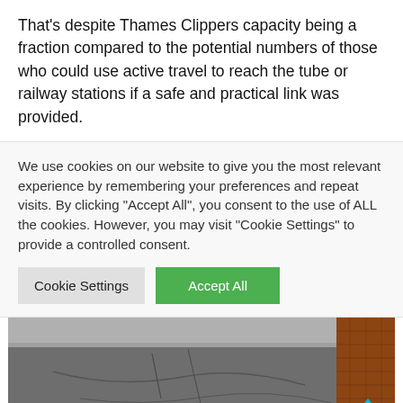That's despite Thames Clippers capacity being a fraction compared to the potential numbers of those who could use active travel to reach the tube or railway stations if a safe and practical link was provided.
We use cookies on our website to give you the most relevant experience by remembering your preferences and repeat visits. By clicking "Accept All", you consent to the use of ALL the cookies. However, you may visit "Cookie Settings" to provide a controlled consent.
[Figure (photo): Photograph of a deteriorating road or pavement surface showing cracked asphalt and a kerb, with a brick wall visible on the right side. A teal/turquoise upward-pointing chevron arrow is overlaid in the bottom right corner.]
Deteriorating something alongside...